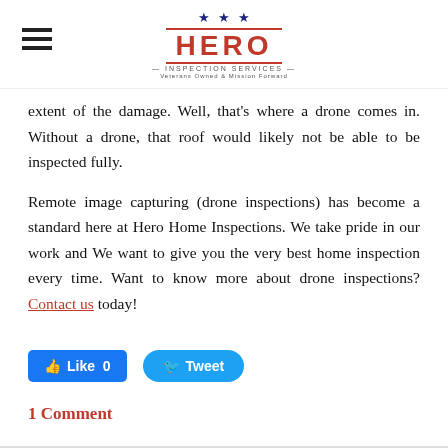[Figure (logo): Hero Inspection Services logo with three stars above the text HERO in red, with red border lines, subtitle INSPECTION SERVICES, and tagline Veterans Owned & Mission Forward]
extent of the damage. Well, that's where a drone comes in. Without a drone, that roof would likely not be able to be inspected fully.
Remote image capturing (drone inspections) has become a standard here at Hero Home Inspections. We take pride in our work and We want to give you the very best home inspection every time. Want to know more about drone inspections? Contact us today!
[Figure (screenshot): Social sharing buttons: Facebook Like button showing count 0 and Twitter Tweet button]
1 Comment